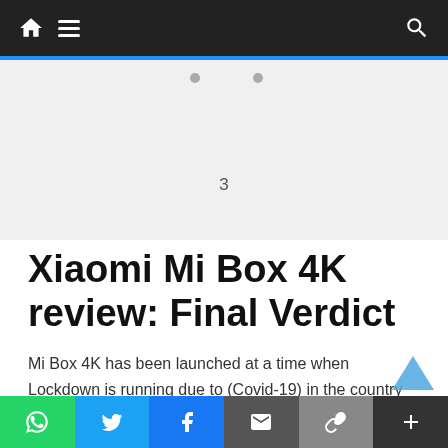Navigation bar with home, menu, and search icons
[Figure (other): Advertisement placeholder area with number 3]
Xiaomi Mi Box 4K review: Final Verdict
Mi Box 4K has been launched at a time when Lockdown is running due to (Covid-19) in the country and the world. Gradually, relaxations are being given by the government in some cities. [people who do not have a] smart TV and are locked in their houses for a long time. So those people can
Social sharing bar: WhatsApp, Twitter, Facebook, Email, Link, Plus